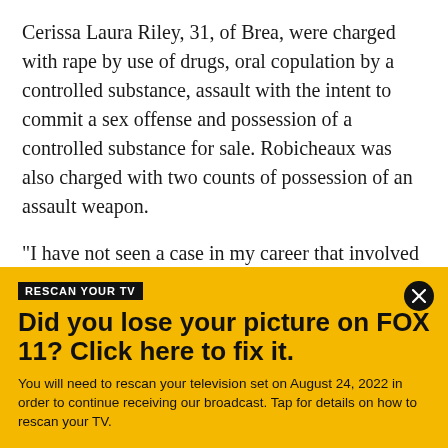Cerissa Laura Riley, 31, of Brea, were charged with rape by use of drugs, oral copulation by a controlled substance, assault with the intent to commit a sex offense and possession of a controlled substance for sale. Robicheaux was also charged with two counts of possession of an assault weapon.
"I have not seen a case in my career that involved this many videos and sexual acts and possible crimes," said District Attorney Tony Rackauckas.
RESCAN YOUR TV
Did you lose your picture on FOX 11? Click here to fix it.
You will need to rescan your television set on August 24, 2022 in order to continue receiving our broadcast. Tap for details on how to rescan your TV.